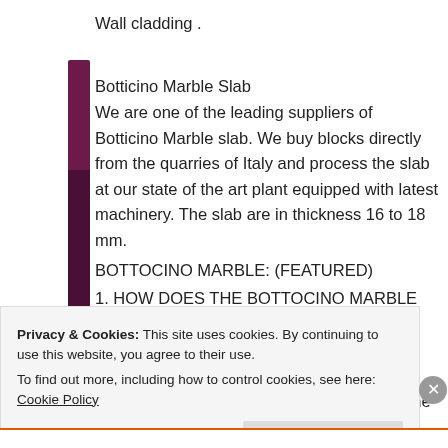Wall cladding .
Botticino Marble Slab
We are one of the leading suppliers of Botticino Marble slab. We buy blocks directly from the quarries of Italy and process the slab at our state of the art plant equipped with latest machinery. The slab are in thickness 16 to 18 mm.
BOTTOCINO MARBLE: (FEATURED)
1. HOW DOES THE BOTTOCINO MARBLE LOOK?
The Bottocino Classico is a classical beige colored natural stone with some light spots. The grain of this marble is very fine with some rare whitish and golden veins. This type of stone, with its creamy color, is one
Privacy & Cookies: This site uses cookies. By continuing to use this website, you agree to their use.
To find out more, including how to control cookies, see here: Cookie Policy